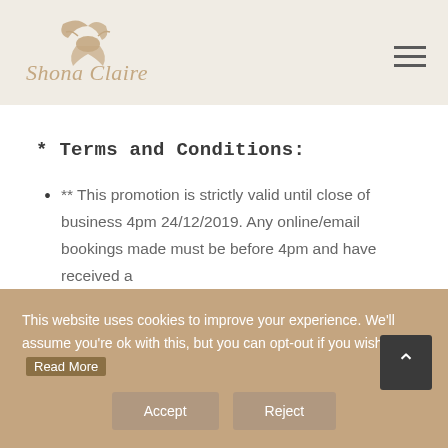[Figure (logo): Shona Claire logo with stylized bird/hand illustration and italic text]
* Terms and Conditions:
** This promotion is strictly valid until close of business 4pm 24/12/2019. Any online/email bookings made must be before 4pm and have received a
This website uses cookies to improve your experience. We'll assume you're ok with this, but you can opt-out if you wish. Read More